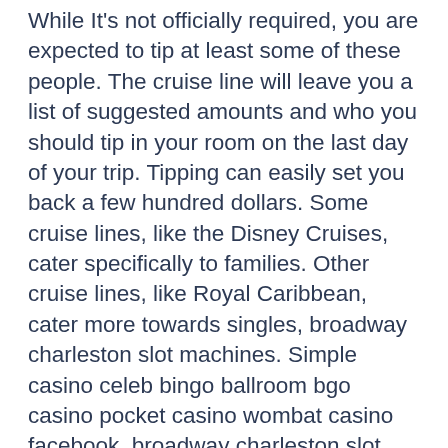While It's not officially required, you are expected to tip at least some of these people. The cruise line will leave you a list of suggested amounts and who you should tip in your room on the last day of your trip. Tipping can easily set you back a few hundred dollars. Some cruise lines, like the Disney Cruises, cater specifically to families. Other cruise lines, like Royal Caribbean, cater more towards singles, broadway charleston slot machines. Simple casino celeb bingo ballroom bgo casino pocket casino wombat casino facebook, broadway charleston slot machines. You also get an Auto-Play feature, and it can be played on desktops or mobiles. You are most welcome to play for fun at most of the casino online slots that we have lined up for you, on a no sign up freedom. All you have to do is visit our website and play your favorite games.